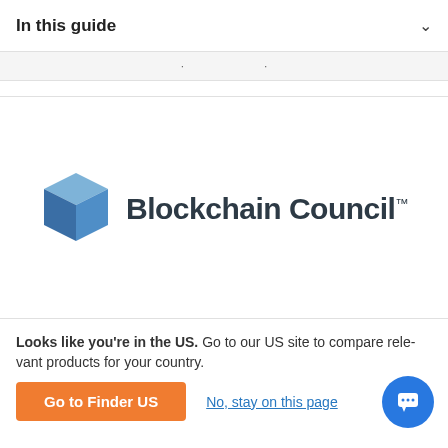In this guide
[Figure (logo): Blockchain Council logo with a blue 3D cube icon and text 'Blockchain Council™']
Looks like you're in the US. Go to our US site to compare relevant products for your country.
Go to Finder US
No, stay on this page